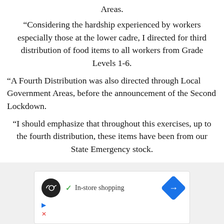Areas.
“Considering the hardship experienced by workers especially those at the lower cadre, I directed for third distribution of food items to all workers from Grade Levels 1-6.
“A Fourth Distribution was also directed through Local Government Areas, before the announcement of the Second Lockdown.
“I should emphasize that throughout this exercises, up to the fourth distribution, these items have been from our State Emergency stock.
[Figure (screenshot): Advertisement box showing a store logo (black circle with infinity-like symbol), a green checkmark with 'In-store shopping' text, and a blue diamond arrow icon, with play and close icons below.]